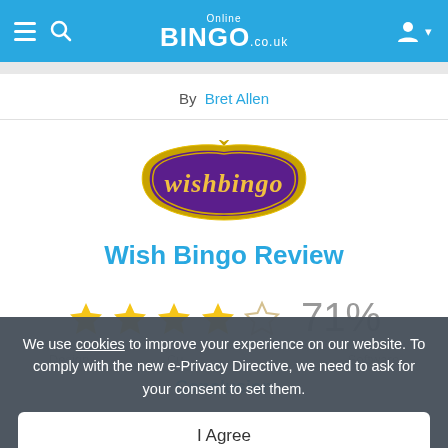Online BINGO.co.uk
By Bret Allen
[Figure (logo): Wish Bingo logo — purple ornate badge shape with gold border and white cursive 'wishbingo' text]
Wish Bingo Review
[Figure (infographic): 4 filled gold stars and 1 empty star rating with 71% score]
Design  Customer Service  Software
We use cookies to improve your experience on our website. To comply with the new e-Privacy Directive, we need to ask for your consent to set them.
I Agree
Conclusion